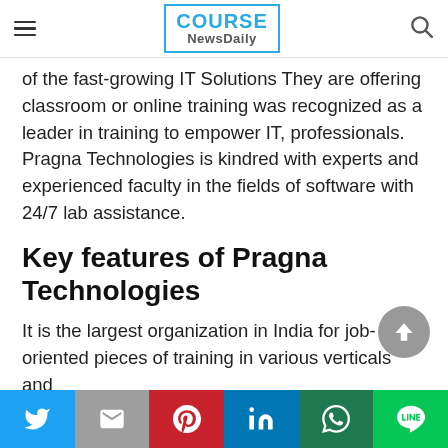COURSE NewsDaily
of the fast-growing IT Solutions They are offering classroom or online training was recognized as a leader in training to empower IT, professionals. Pragna Technologies is kindred with experts and experienced faculty in the fields of software with 24/7 lab assistance.
Key features of Pragna Technologies
It is the largest organization in India for job-oriented pieces of training in various verticals and
Twitter | Gmail | Pinterest | LinkedIn | WhatsApp | Line